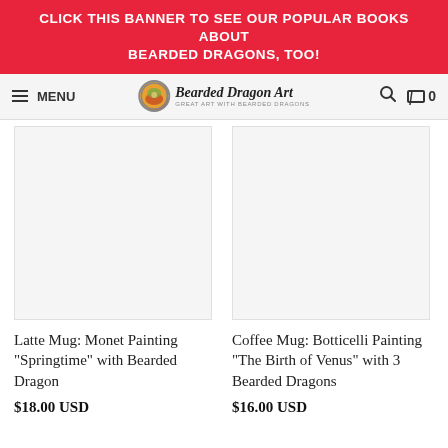CLICK THIS BANNER TO SEE OUR POPULAR BOOKS ABOUT BEARDED DRAGONS, TOO!
[Figure (logo): Bearded Dragon Art website navigation bar with hamburger menu, logo (Bearded Dragon Art - Great Art with Bearded Dragons), search icon, and cart showing 0 items]
[Figure (photo): Product image placeholder for Latte Mug: Monet Painting Springtime with Bearded Dragon]
Latte Mug: Monet Painting "Springtime" with Bearded Dragon
$18.00 USD
[Figure (photo): Product image placeholder for Coffee Mug: Botticelli Painting The Birth of Venus with 3 Bearded Dragons]
Coffee Mug: Botticelli Painting "The Birth of Venus" with 3 Bearded Dragons
$16.00 USD